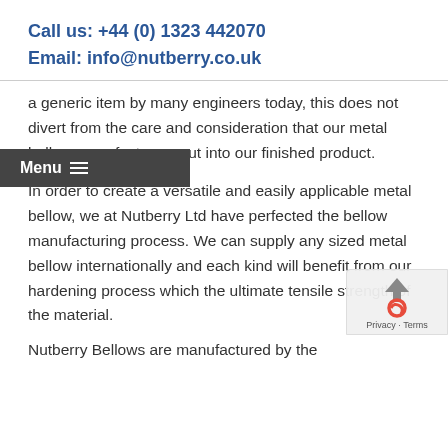Call us: +44 (0) 1323 442070
Email: info@nutberry.co.uk
a generic item by many engineers today, this does not divert from the care and consideration that our metal bellow manufacturers put into our finished product.
In order to create a versatile and easily applicable metal bellow, we at Nutberry Ltd have perfected the bellow manufacturing process. We can supply any sized metal bellow internationally and each kind will benefit from our hardening process which the ultimate tensile strength of the material.
Nutberry Bellows are manufactured by the